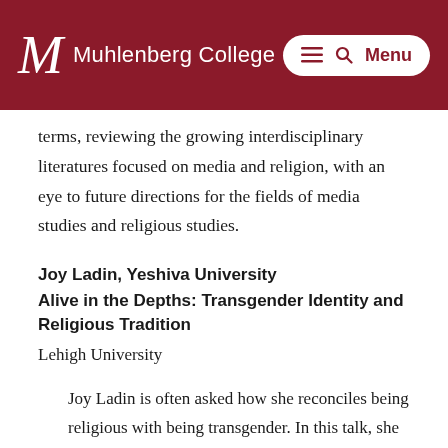Muhlenberg College
terms, reviewing the growing interdisciplinary literatures focused on media and religion, with an eye to future directions for the fields of media studies and religious studies.
Joy Ladin, Yeshiva University
Alive in the Depths: Transgender Identity and Religious Tradition
Lehigh University
Joy Ladin is often asked how she reconciles being religious with being transgender. In this talk, she will explain how her childhood experience of hiding both her trans identity and her